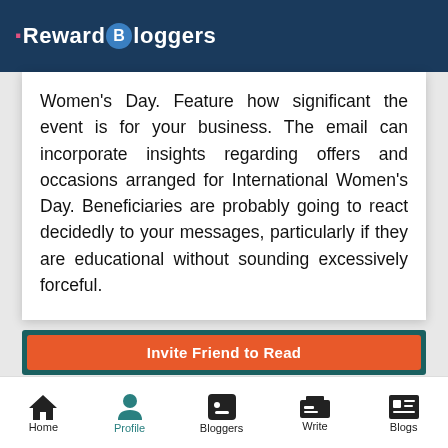Reward Bloggers
Women's Day. Feature how significant the event is for your business. The email can incorporate insights regarding offers and occasions arranged for International Women's Day. Beneficiaries are probably going to react decidedly to your messages, particularly if they are educational without sounding excessively forceful.
Invite Friend to Read
Home | Profile | Bloggers | Write | Blogs